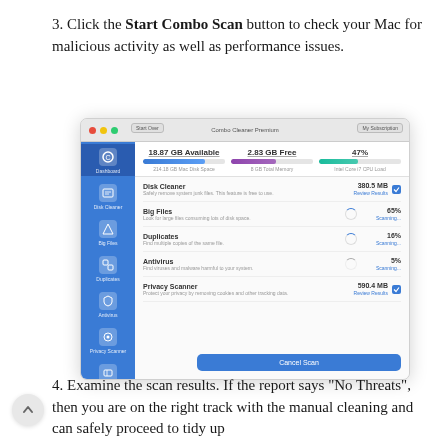3. Click the Start Combo Scan button to check your Mac for malicious activity as well as performance issues.
[Figure (screenshot): Screenshot of Combo Cleaner Premium macOS application showing a scan in progress. The sidebar shows icons for Dashboard, Disk Cleaner, Big Files, Duplicates, Antivirus, Privacy Scanner, and Uninstaller. The main panel shows stats: 18.87 GB Available, 2.83 GB Free, 47%. Below are scan items: Disk Cleaner (380.5 MB, Review Results), Big Files (65%, Scanning...), Duplicates (16%, Scanning...), Antivirus (5%, Scanning...), Privacy Scanner (590.4 MB, Review Results). A Cancel Scan button is at the bottom.]
4. Examine the scan results. If the report says “No Threats”, then you are on the right track with the manual cleaning and can safely proceed to tidy up